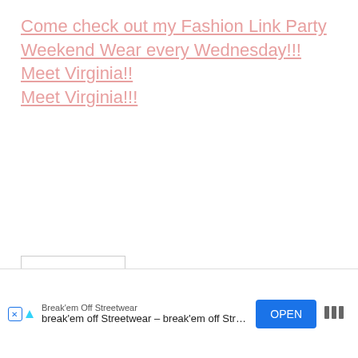Come check out my Fashion Link Party Weekend Wear every Wednesday!!!
Meet Virginia!!
Meet Virginia!!!
Reply
Kimberlee says:
August 27, 2010 at 12:46 am
I would love to win the giveaway! Can always use help with the cleaning. LOL! – New follower of...